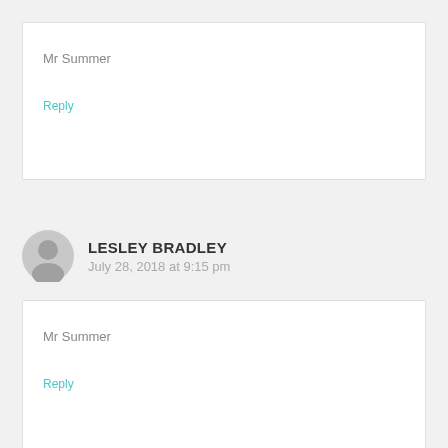Mr Summer
Reply
LESLEY BRADLEY
July 28, 2018 at 9:15 pm
Mr Summer
Reply